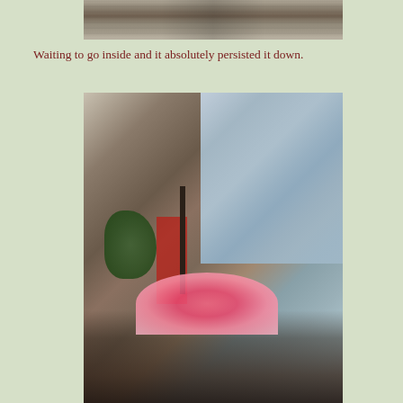[Figure (photo): Partial view of a street scene in London showing the upper portion of a building with iron railings and people on the pavement]
Waiting to go inside and it absolutely persisted it down.
[Figure (photo): Street scene in London showing old brick buildings alongside a modern glass building. In the foreground, people wait in the rain under a pink and white striped umbrella. A traditional black street lamp is visible, and there is a red door on the brick building. Modern glass architecture visible in the background.]